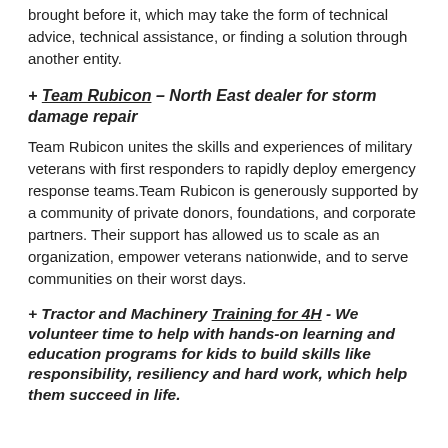brought before it, which may take the form of technical advice, technical assistance, or finding a solution through another entity.
+ Team Rubicon – North East dealer for storm damage repair
Team Rubicon unites the skills and experiences of military veterans with first responders to rapidly deploy emergency response teams.Team Rubicon is generously supported by a community of private donors, foundations, and corporate partners. Their support has allowed us to scale as an organization, empower veterans nationwide, and to serve communities on their worst days.
+ Tractor and Machinery Training for 4H - We volunteer time to help with hands-on learning and education programs for kids to build skills like responsibility, resiliency and hard work, which help them succeed in life.